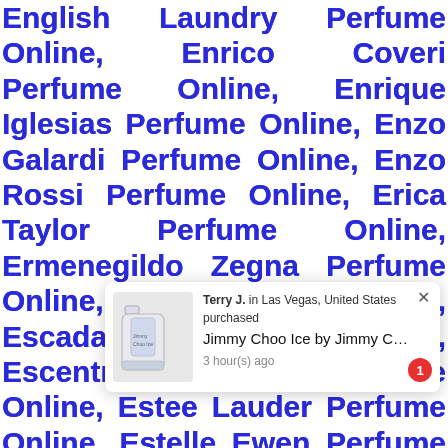English Laundry Perfume Online, Enrico Coveri Perfume Online, Enrique Iglesias Perfume Online, Enzo Galardi Perfume Online, Enzo Rossi Perfume Online, Erica Taylor Perfume Online, Ermenegildo Zegna Perfume Online, Erox Perfume Online, Escada Perfume Online, Escentric Molecules Perfume Online, Estee Lauder Perfume Online, Estelle Ewen Perfume Online, Estelle Vendome Perfume Online, Etat Libre D'Orange Perfume Online, Etat Libre D'or... ...ange Perfu... ...line, Etro ...ne, Eva Longoria Perfume Online, Everlast Perfume Online, Euro Perfume Online, Ezra Perfume...
[Figure (other): A purchase notification popup showing a perfume product (Jimmy Choo Ice by Jimmy C...) purchased by Terry J. in Las Vegas, United States, 3 hour(s) ago, with product image and a red badge showing '1'.]